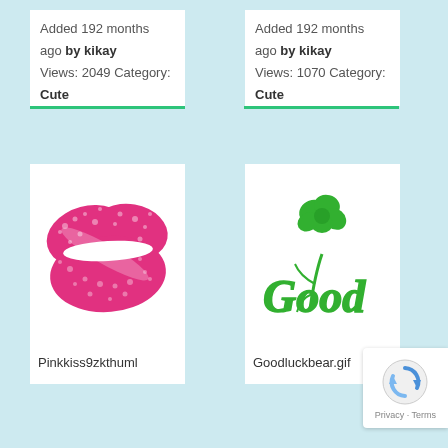Added 192 months ago by kikay
Views: 2049 Category:
Cute
Added 192 months ago by kikay
Views: 1070 Category:
Cute
[Figure (illustration): Pink lips kiss mark illustration - Pinkkiss9zkthuml]
Pinkkiss9zkthuml
[Figure (illustration): Green Good Luck Bear gif with flower and Good text - Goodluckbear.gif]
Goodluckbear.gif
[Figure (other): reCAPTCHA badge with Privacy and Terms links]